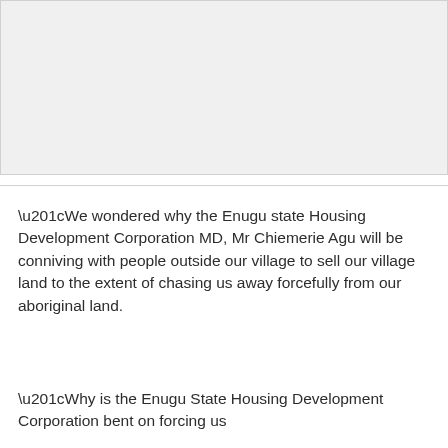[Figure (photo): Image placeholder area, appears blank/light gray]
“We wondered why the Enugu state Housing Development Corporation MD, Mr Chiemerie Agu will be conniving with people outside our village to sell our village land to the extent of chasing us away forcefully from our aboriginal land.
“Why is the Enugu State Housing Development Corporation bent on forcing us